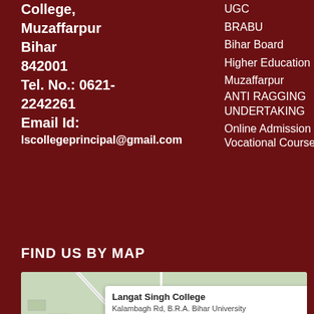College, Muzaffarpur Bihar 842001 Tel. No.: 0621-2242261 Email Id: lscollegeprincipal@gmail.com
UGC
BRABU
Bihar Board
Higher Education
Muzaffarpur
ANTI RAGGING UNDERTAKING
Online Admission In Vocational Course
FIND US BY MAP
[Figure (map): Google Maps screenshot showing Langat Singh College location at Kalambagh Rd, B.R.A. Bihar University, 842001 Muzaffarpur, with a map popup and red location pin]